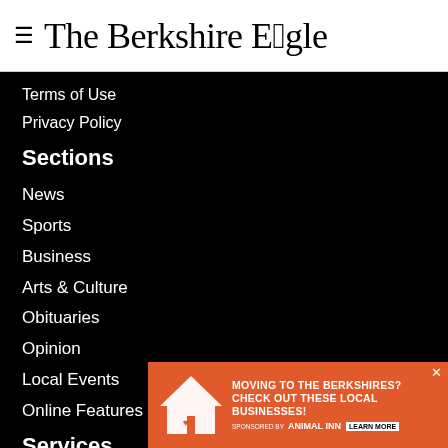≡ The Berkshire Eagle
Terms of Use
Privacy Policy
Sections
News
Sports
Business
Arts & Culture
Obituaries
Opinion
Local Events
Online Features
Services
About Us
Advertise
[Figure (infographic): Orange advertisement banner: MOVING TO THE BERKSHIRES? CHECK OUT THESE LOCAL BUSINESSES! Sponsored by Animal Inn. LEARN MORE. welcome home logo on left.]